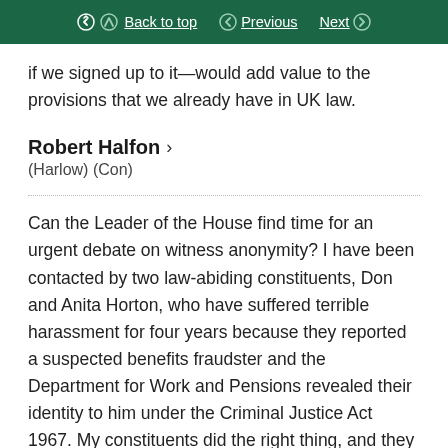Back to top  Previous  Next
if we signed up to it—would add value to the provisions that we already have in UK law.
Robert Halfon
(Harlow) (Con)
Can the Leader of the House find time for an urgent debate on witness anonymity? I have been contacted by two law-abiding constituents, Don and Anita Horton, who have suffered terrible harassment for four years because they reported a suspected benefits fraudster and the Department for Work and Pensions revealed their identity to him under the Criminal Justice Act 1967. My constituents did the right thing, and they should be protected by the